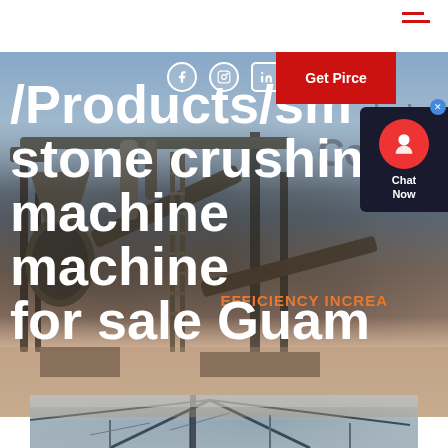[Figure (photo): Industrial stone crushing plant facility with heavy machinery, conveyor belts, and processing equipment against a blue sky background. Text overlays show '/Products/small stone crushing machine machine for sale Guam' in large white bold font. Social media icons (Facebook, Instagram, LinkedIn) visible. Red 'Get Pirce' button in top right. Chat widget on right side. 'EFFICIENCY INCREA...' text and 'Cone Cr...' background text visible.]
/Products/small stone crushing machine machine for sale Guam
[Figure (photo): Partial view of an industrial facility interior showing structural steel framework and triangular roof/ceiling supports, appearing to be a warehouse or processing plant.]